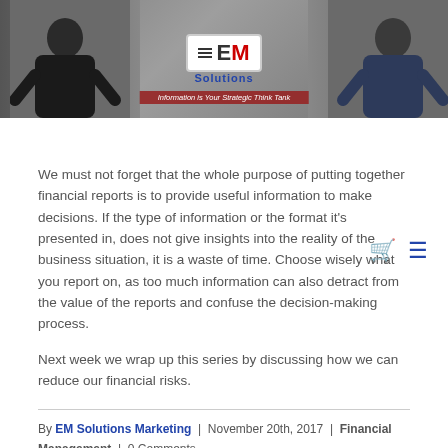[Figure (photo): EM Solutions Marketing banner with two people (a woman on the left with arms crossed and a man on the right), a centered logo reading EM Solutions, and a tagline banner.]
We must not forget that the whole purpose of putting together financial reports is to provide useful information to make decisions. If the type of information or the format it's presented in, does not give insights into the reality of the business situation, it is a waste of time. Choose wisely what you report on, as too much information can also detract from the value of the reports and confuse the decision-making process.
Next week we wrap up this series by discussing how we can reduce our financial risks.
By EM Solutions Marketing | November 20th, 2017 | Financial Management | 0 Comments